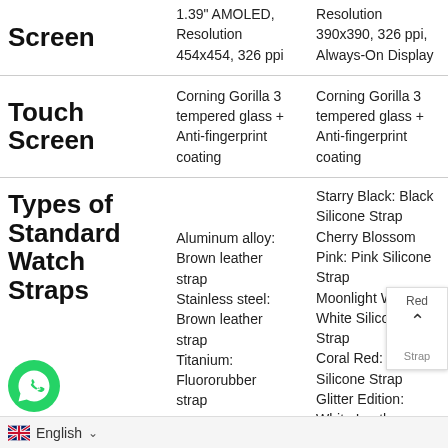| Feature | Device A | Device B |
| --- | --- | --- |
| Screen | 1.39" AMOLED, Resolution 454x454, 326 ppi | Resolution 390x390, 326 ppi, Always-On Display |
| Touch Screen | Corning Gorilla 3 tempered glass + Anti-fingerprint coating | Corning Gorilla 3 tempered glass + Anti-fingerprint coating |
| Types of Standard Watch Straps | Aluminum alloy: Brown leather strap
Stainless steel: Brown leather strap
Titanium: Fluororubber strap | Starry Black: Black Silicone Strap
Cherry Blossom Pink: Pink Silicone Strap
Moonlight White: White Silicone Strap
Coral Red: Red Silicone Strap
Glitter Edition: White Leather |